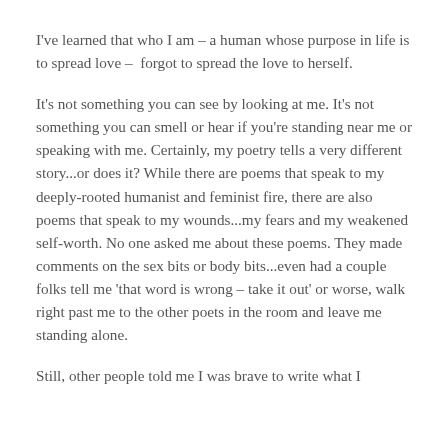I've learned that who I am – a human whose purpose in life is to spread love –  forgot to spread the love to herself.
It's not something you can see by looking at me. It's not something you can smell or hear if you're standing near me or speaking with me. Certainly, my poetry tells a very different story...or does it? While there are poems that speak to my deeply-rooted humanist and feminist fire, there are also poems that speak to my wounds...my fears and my weakened self-worth. No one asked me about these poems. They made comments on the sex bits or body bits...even had a couple folks tell me 'that word is wrong – take it out' or worse, walk right past me to the other poets in the room and leave me standing alone.
Still, other people told me I was brave to write what I